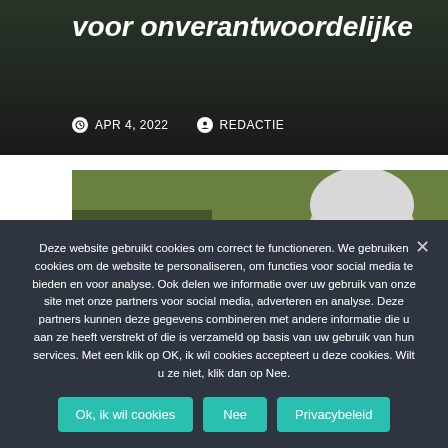voor onverantwoordelijke
APR 4, 2022   REDACTIE
[Figure (photo): Outdoor photo of an elderly man with white hair and glasses, with green countryside in the background. A blue label reads BINNENLAND.]
Deze website gebruikt cookies om correct te functioneren. We gebruiken cookies om de website te personaliseren, om functies voor social media te bieden en voor analyse. Ook delen we informatie over uw gebruik van onze site met onze partners voor social media, adverteren en analyse. Deze partners kunnen deze gegevens combineren met andere informatie die u aan ze heeft verstrekt of die is verzameld op basis van uw gebruik van hun services. Met een klik op OK, ik wil cookies accepteert u deze cookies. Wilt u ze niet, klik dan op Nee.
Ok, ik wil cookies   Nee   Privacybeleid